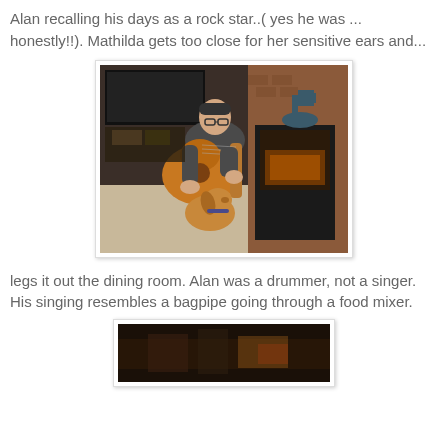Alan recalling his days as a rock star..( yes he was ... honestly!!). Mathilda gets too close for her sensitive ears and...
[Figure (photo): A man sitting cross-legged on the floor playing an acoustic guitar indoors, with a dog approaching him, a wood-burning stove and brick fireplace to the right, and a horse statue on top of the stove. A TV and shelving unit are visible in the background.]
legs it out the dining room. Alan was a drummer, not a singer. His singing resembles a bagpipe going through a food mixer.
[Figure (photo): Partial view of another indoor photo, showing a dark interior scene.]